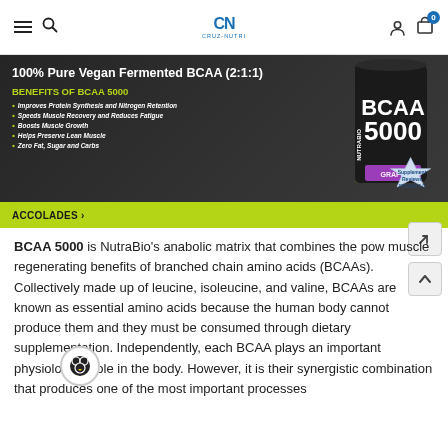Cruz-Nutri navigation bar with hamburger menu, search, logo, account and cart icons
[Figure (photo): BCAA 5000 product banner showing 100% Pure Vegan Fermented BCAA (2:1:1), NutraBio BCAA 5000 supplement container, benefits list including Improves Protein Synthesis and Nitrogen Retention, Speeds Muscle Recovery and Reduces Fatigue, Boosts Muscle Growth, Helps Preserve Lean Muscle, Zero Fat, Sugar and Carbs, and ACCOLADES > link on green bar]
BCAA 5000 is NutraBio's anabolic matrix that combines the pow muscle regenerating benefits of branched chain amino acids (BCAAs). Collectively made up of leucine, isoleucine, and valine, BCAAs are known as essential amino acids because the human body cannot produce them and they must be consumed through dietary supplementation. Independently, each BCAA plays an important physiological role in the body. However, it is their synergistic combination that produces one of the most important processes